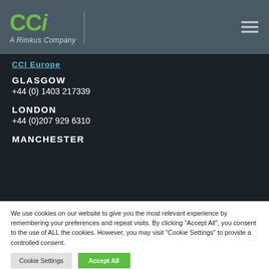CCi A Rimkus Company
CCI Europe
GLASGOW
+44 (0) 1403 217339
LONDON
+44 (0)207 929 6310
MANCHESTER
We use cookies on our website to give you the most relevant experience by remembering your preferences and repeat visits. By clicking "Accept All", you consent to the use of ALL the cookies. However, you may visit "Cookie Settings" to provide a controlled consent.